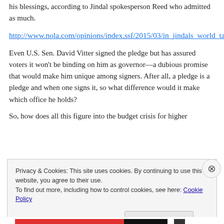his blessings, according to Jindal spokesperson Reed who admitted as much.
http://www.nola.com/opinions/index.ssf/2015/03/in_jindals_world_tax_is_a_tax.html
Even U.S. Sen. David Vitter signed the pledge but has assured voters it won't be binding on him as governor—a dubious promise that would make him unique among signers. After all, a pledge is a pledge and when one signs it, so what difference would it make which office he holds?
So, how does all this figure into the budget crisis for higher
Privacy & Cookies: This site uses cookies. By continuing to use this website, you agree to their use.
To find out more, including how to control cookies, see here: Cookie Policy
Close and accept